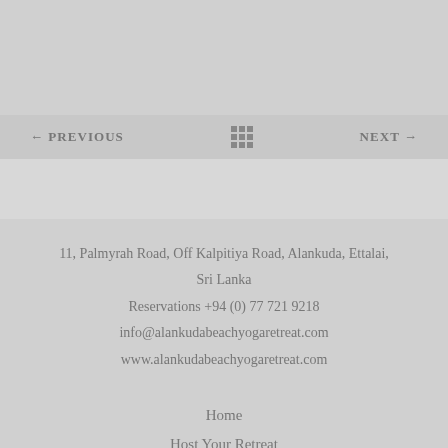← PREVIOUS    ⊞    NEXT →
11, Palmyrah Road, Off Kalpitiya Road, Alankuda, Ettalai, Sri Lanka
Reservations +94 (0) 77 721 9218
info@alankudabeachyogaretreat.com
www.alankudabeachyogaretreat.com
Home
Host Your Retreat